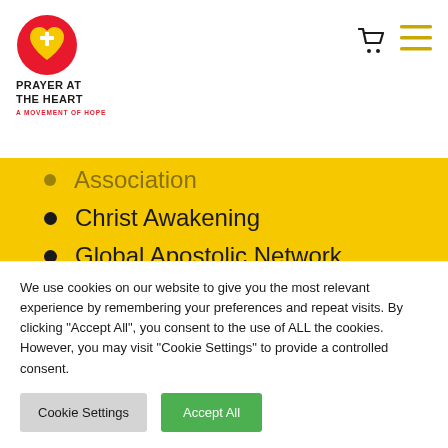[Figure (logo): Prayer at the Heart logo — red circle with yellow heart and cross icon, text 'PRAYER AT THE HEART' and 'A MOVEMENT OF HOPE']
Association (partially visible, cut off at top)
Christ Awakening
Global Apostolic Network
Global Presence
Gloo
We use cookies on our website to give you the most relevant experience by remembering your preferences and repeat visits. By clicking "Accept All", you consent to the use of ALL the cookies. However, you may visit "Cookie Settings" to provide a controlled consent.